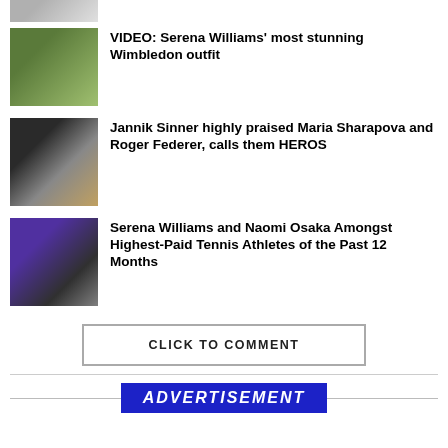[Figure (photo): Partial thumbnail photo at top, cropped]
[Figure (photo): Thumbnail of Serena Williams at Wimbledon]
VIDEO: Serena Williams' most stunning Wimbledon outfit
[Figure (photo): Thumbnail of Jannik Sinner, Maria Sharapova, Roger Federer]
Jannik Sinner highly praised Maria Sharapova and Roger Federer, calls them HEROS
[Figure (photo): Thumbnail of Serena Williams and Naomi Osaka]
Serena Williams and Naomi Osaka Amongst Highest-Paid Tennis Athletes of the Past 12 Months
CLICK TO COMMENT
ADVERTISEMENT